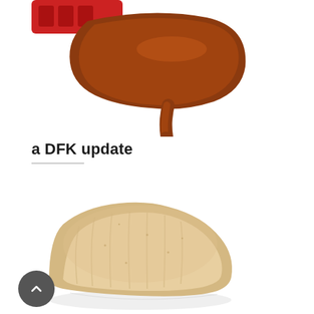[Figure (photo): Close-up photo of chocolate sauce pouring from a red container, creating a thick drizzle on a white background]
a DFK update
[Figure (photo): Close-up photo of a single madeleine (French shell-shaped cake) on a white background, with a circular back/up navigation button in dark grey overlaid at the lower left]